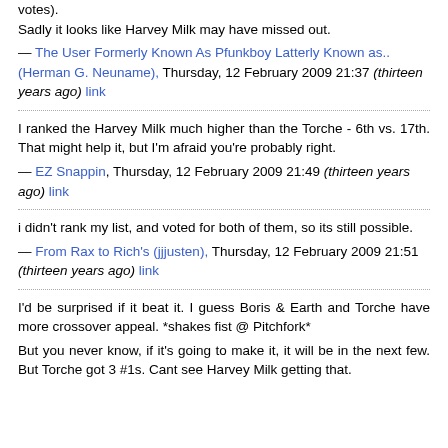votes).
Sadly it looks like Harvey Milk may have missed out.
— The User Formerly Known As Pfunkboy Latterly Known as.. (Herman G. Neuname), Thursday, 12 February 2009 21:37 (thirteen years ago) link
I ranked the Harvey Milk much higher than the Torche - 6th vs. 17th. That might help it, but I'm afraid you're probably right.
— EZ Snappin, Thursday, 12 February 2009 21:49 (thirteen years ago) link
i didn't rank my list, and voted for both of them, so its still possible.
— From Rax to Rich's (jjjusten), Thursday, 12 February 2009 21:51 (thirteen years ago) link
I'd be surprised if it beat it. I guess Boris & Earth and Torche have more crossover appeal. *shakes fist @ Pitchfork*

But you never know, if it's going to make it, it will be in the next few. But Torche got 3 #1s. Cant see Harvey Milk getting that.